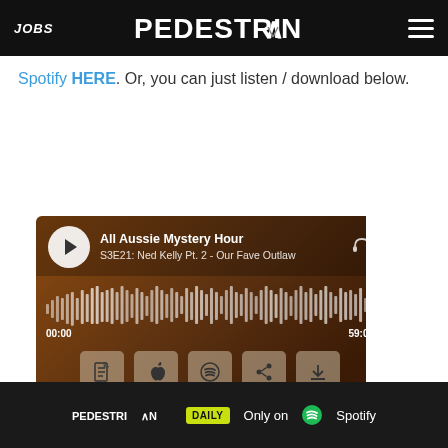JOBS | PEDESTRIAN | [menu]
Spotify HERE. Or, you can just listen / download below.
[Figure (screenshot): Embedded podcast player for 'All Aussie Mystery Hour' showing episode S3E21: Ned Kelly Pt. 2 - Our Fave Outlaw, waveform with timestamps 00:00 and 59:02, action buttons, and episode list including S3E21 (59:02), S3E20 (48:47), S3E19 (44:42), S3E18 (partially visible). Scrollbar on the right side.]
[Figure (screenshot): Advertisement banner for Pedestrian Daily - Only on Spotify]